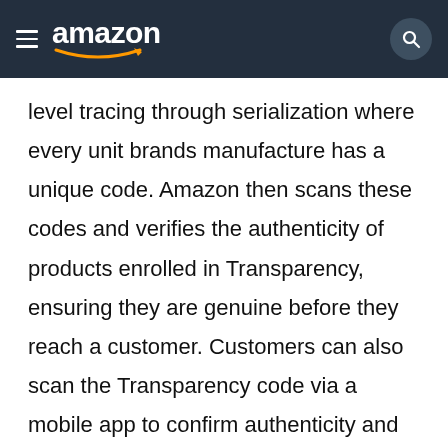amazon
level tracing through serialization where every unit brands manufacture has a unique code. Amazon then scans these codes and verifies the authenticity of products enrolled in Transparency, ensuring they are genuine before they reach a customer. Customers can also scan the Transparency code via a mobile app to confirm authenticity and learn more about the product. Over 2000 brands, from Fortune 500 companies to startups, have enrolled